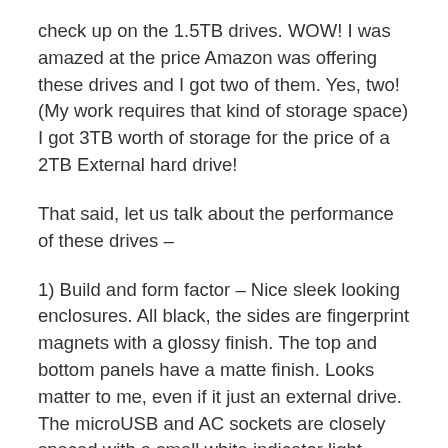check up on the 1.5TB drives. WOW! I was amazed at the price Amazon was offering these drives and I got two of them. Yes, two! (My work requires that kind of storage space)
I got 3TB worth of storage for the price of a 2TB External hard drive!
That said, let us talk about the performance of these drives –
1) Build and form factor – Nice sleek looking enclosures. All black, the sides are fingerprint magnets with a glossy finish. The top and bottom panels have a matte finish. Looks matter to me, even if it just an external drive. The microUSB and AC sockets are closely spaced with a small white indicator light besides them